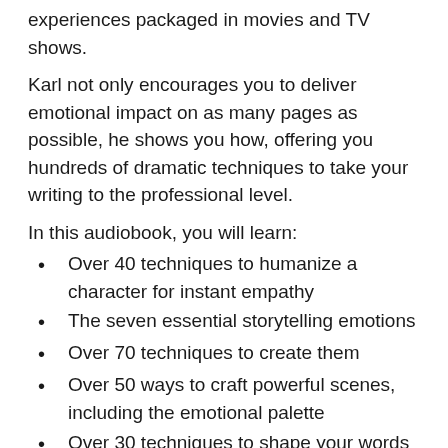experiences packaged in movies and TV shows.
Karl not only encourages you to deliver emotional impact on as many pages as possible, he shows you how, offering you hundreds of dramatic techniques to take your writing to the professional level.
In this audiobook, you will learn:
Over 40 techniques to humanize a character for instant empathy
The seven essential storytelling emotions
Over 70 techniques to create them
Over 50 ways to craft powerful scenes, including the emotional palette
Over 30 techniques to shape your words and energize your narrative description
The most common dialogue flaws and fixes for each
Over 60 techniques to craft dynamic dialogue